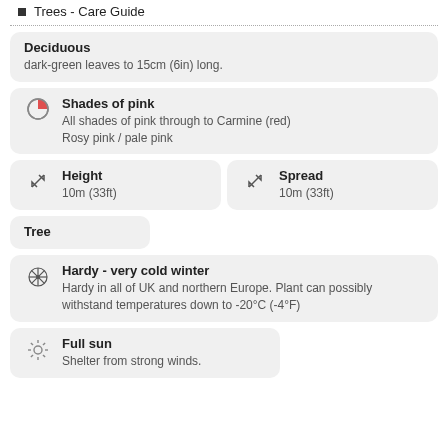Trees - Care Guide
Deciduous
dark-green leaves to 15cm (6in) long.
Shades of pink
All shades of pink through to Carmine (red)
Rosy pink / pale pink
Height
10m (33ft)
Spread
10m (33ft)
Tree
Hardy - very cold winter
Hardy in all of UK and northern Europe. Plant can possibly withstand temperatures down to -20°C (-4°F)
Full sun
Shelter from strong winds.